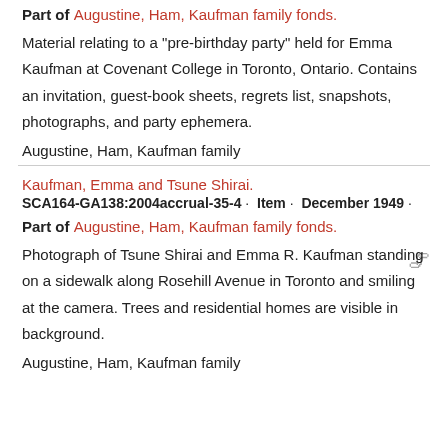Part of Augustine, Ham, Kaufman family fonds.
Material relating to a "pre-birthday party" held for Emma Kaufman at Covenant College in Toronto, Ontario. Contains an invitation, guest-book sheets, regrets list, snapshots, photographs, and party ephemera.
Augustine, Ham, Kaufman family
Kaufman, Emma and Tsune Shirai.
SCA164-GA138:2004accrual-35-4 · Item · December 1949 ·
Part of Augustine, Ham, Kaufman family fonds.
Photograph of Tsune Shirai and Emma R. Kaufman standing on a sidewalk along Rosehill Avenue in Toronto and smiling at the camera. Trees and residential homes are visible in background.
Augustine, Ham, Kaufman family